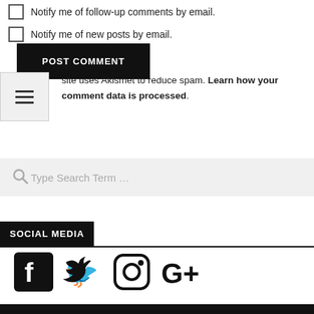Notify me of follow-up comments by email.
Notify me of new posts by email.
POST COMMENT
This site uses Akismet to reduce spam. Learn how your comment data is processed.
Type Search Term …
SOCIAL MEDIA
[Figure (illustration): Social media icons: Facebook, Twitter, Instagram, Google+]